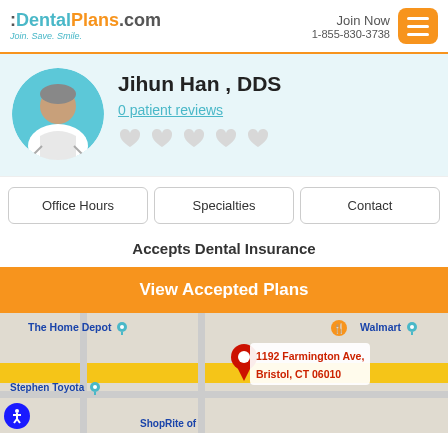:DentalPlans.com Join. Save. Smile. | Join Now 1-855-830-3738
Jihun Han , DDS
0 patient reviews
Accepts Dental Insurance
View Accepted Plans
[Figure (map): Google map showing location at 1192 Farmington Ave, Bristol, CT 06010 with nearby landmarks The Home Depot, Walmart, Stephen Toyota, ShopRite]